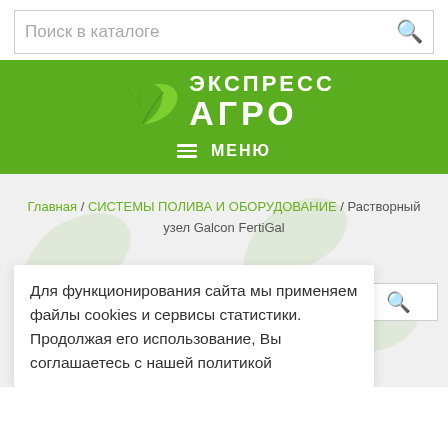[Figure (screenshot): Search bar with placeholder text 'Поиск в каталоге' and a magnifying glass icon on the right]
[Figure (logo): Экспресс Агро logo on green background with leaf graphic and МЕНЮ navigation bar]
Главная / СИСТЕМЫ ПОЛИВА И ОБОРУДОВАНИЕ / Растворный узел Galcon FertiGal
Для функционирования сайта мы применяем файлы cookies и сервисы статистики. Продолжая его использование, Вы соглашаетесь с нашей политикой